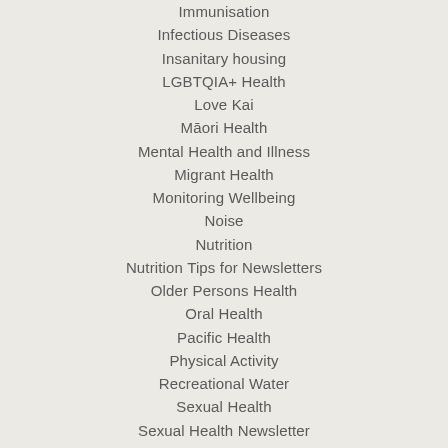Immunisation
Infectious Diseases
Insanitary housing
LGBTQIA+ Health
Love Kai
Māori Health
Mental Health and Illness
Migrant Health
Monitoring Wellbeing
Noise
Nutrition
Nutrition Tips for Newsletters
Older Persons Health
Oral Health
Pacific Health
Physical Activity
Recreational Water
Sexual Health
Sexual Health Newsletter
Smokefree
Smokefree enforcement
Smokefree public spaces
Smoking cessation
Solaria and sunbeds